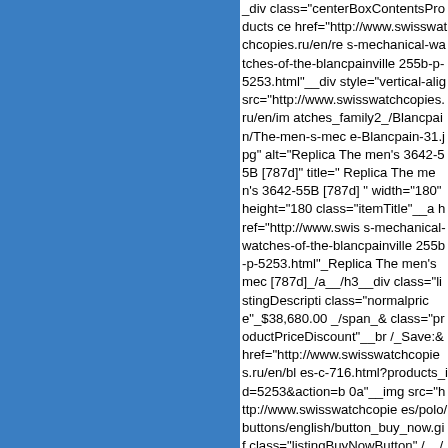[Figure (screenshot): Blue panel on the left side of the page, approximately 240px wide, solid blue color (#3a7ec2)]
_div class="centerBoxContentsProducts ce href="http://www.swisswatchcopies.ru/en/re s-mechanical-watches-of-the-blancpainville 255b-p-5253.html"__div style="vertical-alig src="http://www.swisswatchcopies.ru/en/im atches_family2_/Blancpain/The-men-s-mec e-Blancpain-31.jpg" alt="Replica The men's 3642-55B [787d]" title=" Replica The men's 3642-55B [787d] " width="180" height="180 class="itemTitle"__a href="http://www.swiss s-mechanical-watches-of-the-blancpainville 255b-p-5253.html"_Replica The men's mec [787d]_/a__/h3__div class="listingDescripti class="normalprice"_$38,680.00 _/span_& class="productPriceDiscount"__br /_Save:& href="http://www.swisswatchcopies.ru/en/bl es-c-716.html?products_id=5253&action=b 0a"__img src="http://www.swisswatchcopie es/polo/buttons/english/button_buy_now.gif class="listingBuyNowButton" /__/a__br /__ _div class="centerBoxContentsProducts ce href="http://www.swisswatchcopies.ru/en/re s-mechanical-watches-of-the-blancpainville 155b-p-5254.html"__div style="vertical-alig src="http://www.swisswatchcopies.ru/en/im atches_family2_/Blancpain/The-men-s-mec e-Blancpain-34.jpg" alt="Replica The men's 3431-55B [7038]" title=" Replica The men's 3431-55B [7038] " width="180" height="180 class="itemTitle"__a href="http://www.swiss s-mechanical-watches-of-the-blancpainville 155b-p-5254.html"_Replica The men's mec [7038]_/a__/h3__div class="listingDescripti